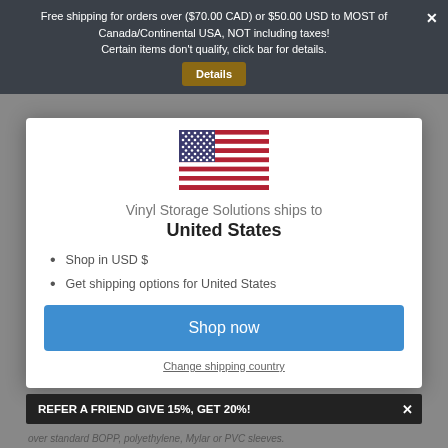Free shipping for orders over ($70.00 CAD) or $50.00 USD to MOST of Canada/Continental USA, NOT including taxes! Certain items don't qualify, click bar for details. Details
[Figure (illustration): American flag (US flag) SVG illustration]
Vinyl Storage Solutions ships to
United States
Shop in USD $
Get shipping options for United States
Shop now
Change shipping country
REFER A FRIEND GIVE 15%, GET 20%!
over standard BOPP, polyethylene, Mylar or PVC sleeves.